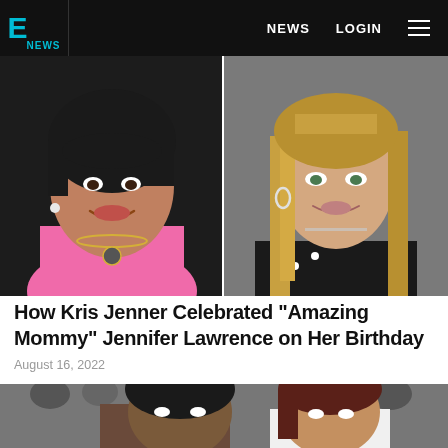E! NEWS   NEWS   LOGIN
[Figure (photo): Side-by-side photos of Kris Jenner (left, in pink outfit with necklace) and Jennifer Lawrence (right, with blonde hair in black and white dress)]
How Kris Jenner Celebrated "Amazing Mommy" Jennifer Lawrence on Her Birthday
August 16, 2022
[Figure (photo): Photo of a man with dark curly hair and a woman with dark reddish hair at what appears to be a red carpet event]